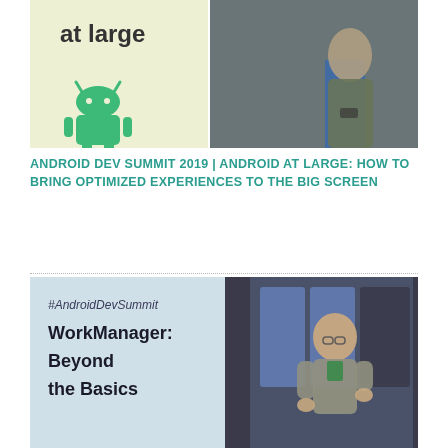[Figure (photo): Split image: left half shows light yellow/green slide with 'at large' text and Android robot logo; right half shows a man in a green t-shirt giving a presentation.]
ANDROID DEV SUMMIT 2019 | ANDROID AT LARGE: HOW TO BRING OPTIMIZED EXPERIENCES TO THE BIG SCREEN
[Figure (photo): Conference talk slide and speaker: left shows '#AndroidDevSummit' hashtag and 'WorkManager: Beyond the Basics' title; right shows a man in a grey shirt presenting on stage.]